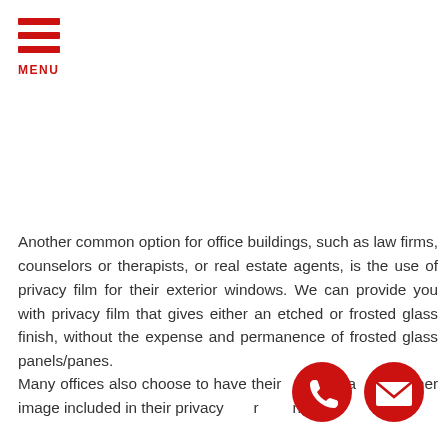[Figure (logo): Red hamburger menu icon with three horizontal red bars and MENU label in red text below]
Another common option for office buildings, such as law firms, counselors or therapists, or real estate agents, is the use of privacy film for their exterior windows. We can provide you with privacy film that gives either an etched or frosted glass finish, without the expense and permanence of frosted glass panels/panes.
Many offices also choose to have their logo, name or other image included in their privacy film for branding purposes. We can design your custom image. The cost...